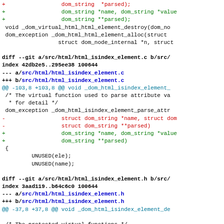[Figure (screenshot): A diff/patch output showing changes to C source files: html_isindex_element.c and html_isindex_element.h, with red lines (removals) and green lines (additions), blue bold for file headers, and cyan for hunk headers.]